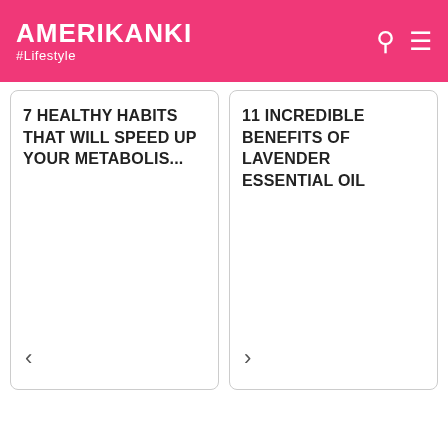AMERIKANKI #Lifestyle
7 HEALTHY HABITS THAT WILL SPEED UP YOUR METABOLIS...
11 INCREDIBLE BENEFITS OF LAVENDER ESSENTIAL OIL